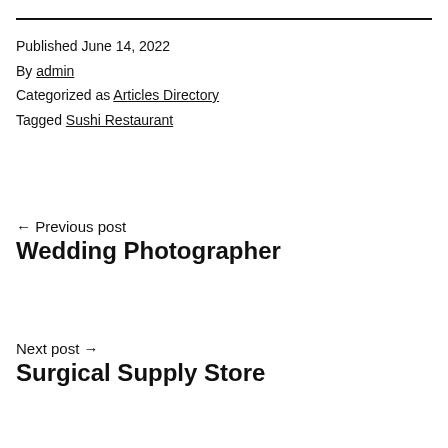Published June 14, 2022
By admin
Categorized as Articles Directory
Tagged Sushi Restaurant
← Previous post
Wedding Photographer
Next post →
Surgical Supply Store